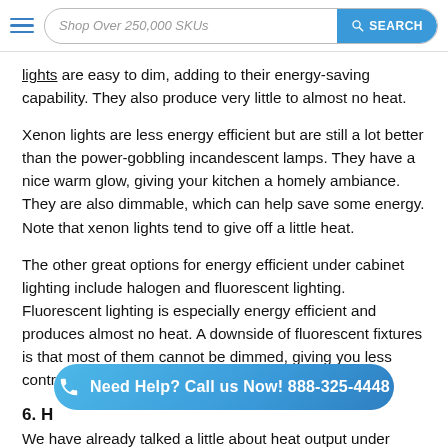Shop Over 250,000 SKUs  [SEARCH]
lights are easy to dim, adding to their energy-saving capability. They also produce very little to almost no heat.
Xenon lights are less energy efficient but are still a lot better than the power-gobbling incandescent lamps. They have a nice warm glow, giving your kitchen a homely ambiance. They are also dimmable, which can help save some energy. Note that xenon lights tend to give off a little heat.
The other great options for energy efficient under cabinet lighting include halogen and fluorescent lighting. Fluorescent lighting is especially energy efficient and produces almost no heat. A downside of fluorescent fixtures is that most of them cannot be dimmed, giving you less control over the light intensity.
6. H
We have already talked a little about heat output under 'energy efficiency'. To recap, fluorescent, and LED lighting are best
[Figure (infographic): Teal/blue pill-shaped CTA banner with phone icon: 'Need Help? Call us Now! 888-325-4448']